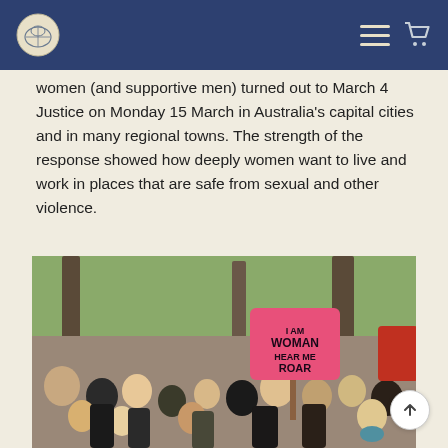Navigation header with logo, menu icon, and cart icon
women (and supportive men) turned out to March 4 Justice on Monday 15 March in Australia's capital cities and in many regional towns. The strength of the response showed how deeply women want to live and work in places that are safe from sexual and other violence.
[Figure (photo): Crowd of protesters at a march, with a prominent pink sign reading 'I AM WOMAN HEAR ME ROAR' held above the crowd, trees visible in the background.]